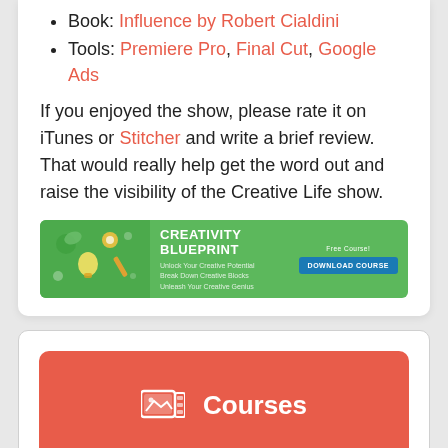Book: Influence by Robert Cialdini
Tools: Premiere Pro, Final Cut, Google Ads
If you enjoyed the show, please rate it on iTunes or Stitcher and write a brief review. That would really help get the word out and raise the visibility of the Creative Life show.
[Figure (infographic): Creativity Blueprint banner ad — green background with icons, title 'CREATIVITY BLUEPRINT', subtitle lines 'Unlock Your Creative Potential / Break Down Creative Blocks / Unleash Your Creative Genius', label 'Free Course!', blue Download Course button]
[Figure (infographic): Red rounded button with film/image icon and label 'Courses']